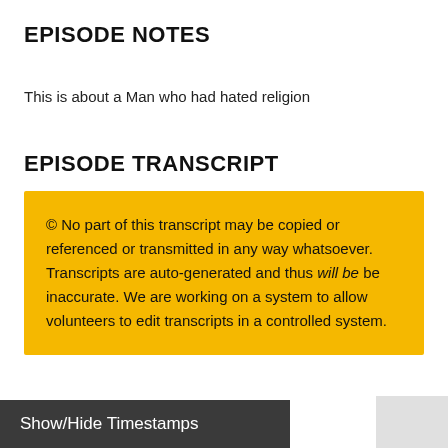EPISODE NOTES
This is about a Man who had hated religion
EPISODE TRANSCRIPT
© No part of this transcript may be copied or referenced or transmitted in any way whatsoever. Transcripts are auto-generated and thus will be be inaccurate. We are working on a system to allow volunteers to edit transcripts in a controlled system.
Show/Hide Timestamps